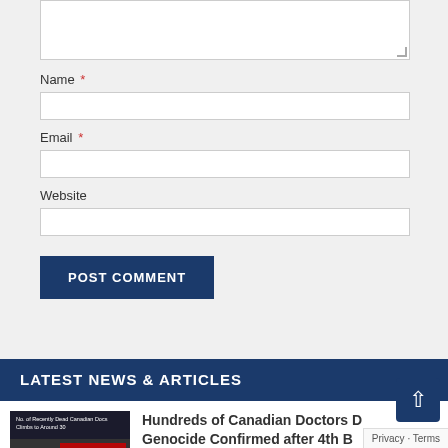[Figure (screenshot): Text area input field (comment box) with resize handle]
Name *
[Figure (screenshot): Name text input field]
Email *
[Figure (screenshot): Email text input field]
Website
[Figure (screenshot): Website text input field]
POST COMMENT
LATEST NEWS & ARTICLES
Hundreds of Canadian Doctors D… Genocide Confirmed after 4th B… Made Mandatory for Medical Field